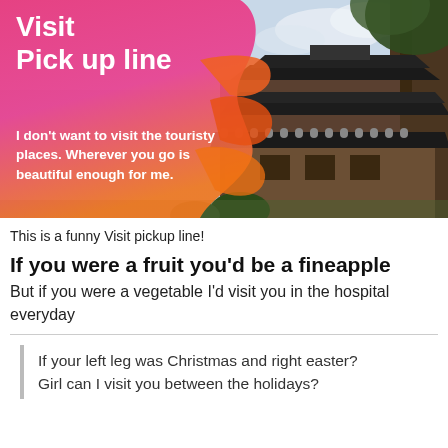[Figure (illustration): A composite image of a Japanese pagoda/temple building with a large tree on the right side, overlaid on the right portion. On the left is a paint-splash graphic in pink-to-orange gradient. White bold text reads 'Visit' and 'Pick up line' at the top left, with a quote below: 'I don't want to visit the touristy places. Wherever you go is beautiful enough for me.']
This is a funny Visit pickup line!
If you were a fruit you'd be a fineapple
But if you were a vegetable I'd visit you in the hospital everyday
If your left leg was Christmas and right easter? Girl can I visit you between the holidays?